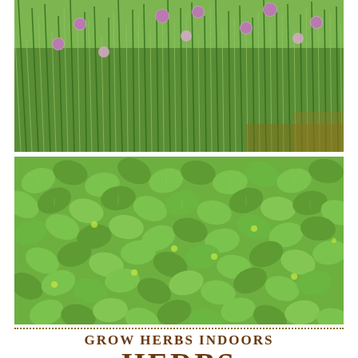[Figure (photo): Close-up photograph of chives plant with long green stalks and purple/pink round flower buds at the tops]
[Figure (photo): Close-up photograph of oregano plant with dense bright green leaves covering the frame]
GROW HERBS INDOORS
HERBS